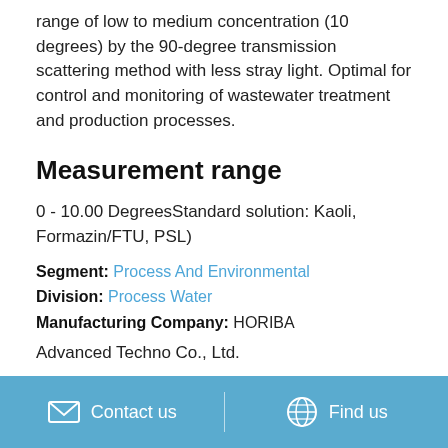range of low to medium concentration (10 degrees) by the 90-degree transmission scattering method with less stray light. Optimal for control and monitoring of wastewater treatment and production processes.
Measurement range
0 - 10.00 Degrees‹Standard solution: Kaoli, Formazin/FTU, PSL)
Segment: Process And Environmental
Division: Process Water
Manufacturing Company: HORIBA Advanced Techno Co., Ltd.
Contact us   Find us